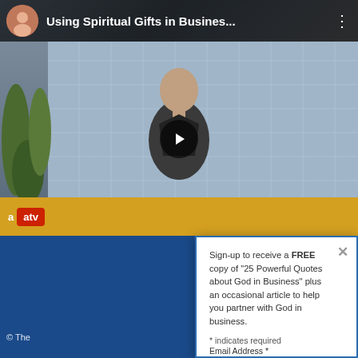[Figure (screenshot): YouTube-style video thumbnail showing a man being interviewed, with glass block wall background, a plant, and ATV logo bar. Title reads 'Using Spiritual Gifts in Busines...']
Sign-up to receive a FREE copy of "25 Powerful Quotes about God in Business" plus an occasional article to help you partner with God in business.
* indicates required
Email Address *
First Name
© The